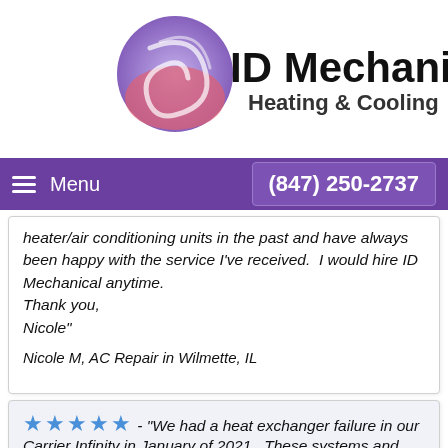[Figure (logo): ID Mechanical Heating & Cooling logo with swirl graphic]
Menu   (847) 250-2737
heater/air conditioning units in the past and have always been happy with the service I've received.  I would hire ID Mechanical anytime.
Thank you,
Nicole"
Nicole M, AC Repair in Wilmette, IL
★★★★★ - "We had a heat exchanger failure in our Carrier Infinity in January of 2021.  These systems and